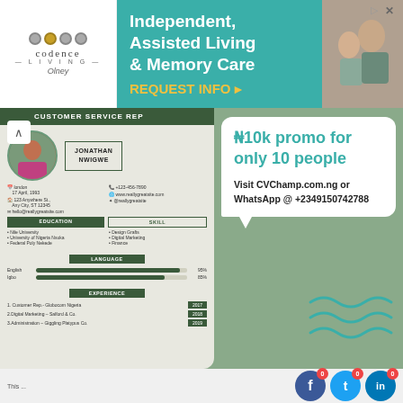[Figure (infographic): Codence Living advertisement banner: teal background with text 'Independent, Assisted Living & Memory Care' and 'REQUEST INFO ▸' in gold, with company logo on left and photo of elderly people on right]
[Figure (infographic): CV/resume preview for Jonathan Nwigwe, Customer Service Rep, showing photo, name, contact details, education, skills, language bars (English 95%, Igbo 85%), and experience entries (Customer Rep Globacom Nigeria 2017, Digital Marketing Salford & Co 2018, Administration Giggling Platypus Co 2019)]
₦10k promo for only 10 people
Visit CVChamp.com.ng or WhatsApp @ +2349150742788
[Figure (illustration): Wave/squiggle decorative lines in teal color on green background]
0 0 0